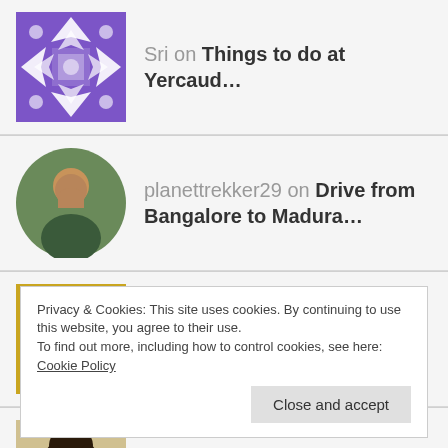Sri on Things to do at Yercaud…
planettrekker29 on Drive from Bangalore to Madura…
Priyanka copriyanka3… on Drive from Bangalore to Coorg
Ruma Dey Baidya on A Trip to Jolly Buoy – Andaman…
Privacy & Cookies: This site uses cookies. By continuing to use this website, you agree to their use. To find out more, including how to control cookies, see here: Cookie Policy
Close and accept